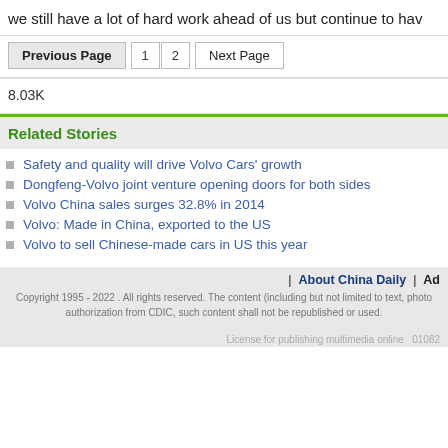we still have a lot of hard work ahead of us but continue to hav
Previous Page  1  2  Next Page
8.03K
Related Stories
Safety and quality will drive Volvo Cars' growth
Dongfeng-Volvo joint venture opening doors for both sides
Volvo China sales surges 32.8% in 2014
Volvo: Made in China, exported to the US
Volvo to sell Chinese-made cars in US this year
| About China Daily | Ad  Copyright 1995 - 2022 . All rights reserved. The content (including but not limited to text, photo authorization from CDIC, such content shall not be republished or used.  License for publishing multimedia online  01082
License for publishing multimedia online  01082